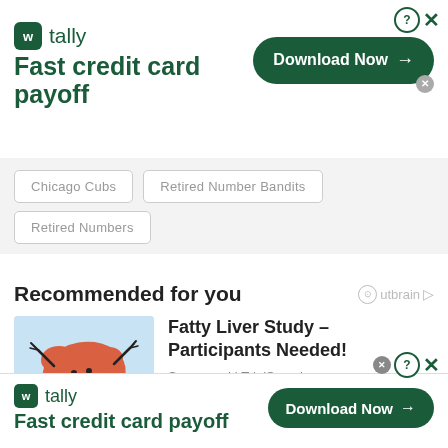[Figure (screenshot): Tally app advertisement banner at top with logo, tagline 'Fast credit card payoff', and 'Download Now' button with arrow]
Chicago Cubs
Retired Number Bandits
Retired Numbers
Recommended for you
[Figure (illustration): Cartoon happy liver character with arms and legs raised on light blue background]
Fatty Liver Study – Participants Needed!
Sponsored | TrialSearch
[Figure (screenshot): Tally app advertisement banner at bottom with logo, tagline 'Fast credit card payoff', and 'Download Now' button with arrow]